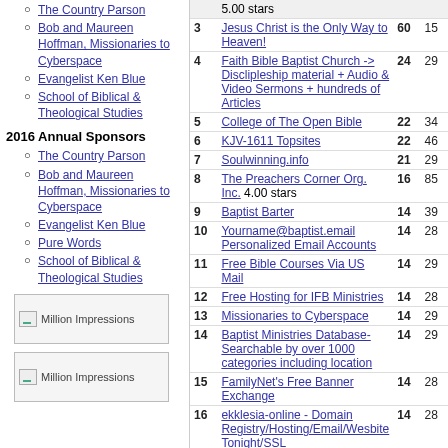The Country Parson
Bob and Maureen Hoffman, Missionaries to Cyberspace
Evangelist Ken Blue
School of Biblical & Theological Studies
2016 Annual Sponsors
The Country Parson
Bob and Maureen Hoffman, Missionaries to Cyberspace
Evangelist Ken Blue
Pure Words
School of Biblical & Theological Studies
[Figure (illustration): Million Impressions sponsor image box 1]
[Figure (illustration): Million Impressions sponsor image box 2]
| # | Site | Votes | Num |
| --- | --- | --- | --- |
|  | 5.00 stars |  |  |
| 3 | Jesus Christ is the Only Way to Heaven! | 60 | 15 |
| 4 | Faith Bible Baptist Church -> Disclipleship material + Audio & Video Sermons + hundreds of Articles | 24 | 29 |
| 5 | College of The Open Bible | 22 | 34 |
| 6 | KJV-1611 Topsites | 22 | 46 |
| 7 | Soulwinning.info | 21 | 29 |
| 8 | The Preachers Corner Org. Inc. 4.00 stars | 16 | 85 |
| 9 | Baptist Barter | 14 | 39 |
| 10 | Yourname@baptist.email Personalized Email Accounts | 14 | 28 |
| 11 | Free Bible Courses Via US Mail | 14 | 29 |
| 12 | Free Hosting for IFB Ministries | 14 | 28 |
| 13 | Missionaries to Cyberspace | 14 | 29 |
| 14 | Baptist Ministries Database-Searchable by over 1000 categories including location | 14 | 29 |
| 15 | FamilyNet's Free Banner Exchange | 14 | 28 |
| 16 | ekklesia-online - Domain Registry/Hosting/Email/Wesbite Tonight/SSL | 14 | 28 |
| 17 | Free Bulletin Insert, Sunday School Lessons, & A Daily Commentary Devotion (KJV) | 13 | 12 |
| 18 | Bible Truth | 12 | 27 |
| 19 | The Lion of Judah - Online Audio, Video, and News | 9 | 11 |